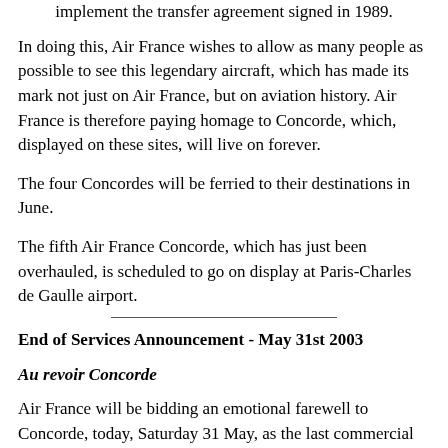implement the transfer agreement signed in 1989.
In doing this, Air France wishes to allow as many people as possible to see this legendary aircraft, which has made its mark not just on Air France, but on aviation history. Air France is therefore paying homage to Concorde, which, displayed on these sites, will live on forever.
The four Concordes will be ferried to their destinations in June.
The fifth Air France Concorde, which has just been overhauled, is scheduled to go on display at Paris-Charles de Gaulle airport.
End of Services Announcement - May 31st 2003
Au revoir Concorde
Air France will be bidding an emotional farewell to Concorde, today, Saturday 31 May, as the last commercial flight touch down at Paris-Charles de Gaulle airport. Concorde F- BTSD operating the last New York-Paris service has just landed carrying 68 passengers and 11 crew members.
This outstanding aircraft today enters its well-earned retirement after more than 27 years' service. It was on 21 January 1976 that an